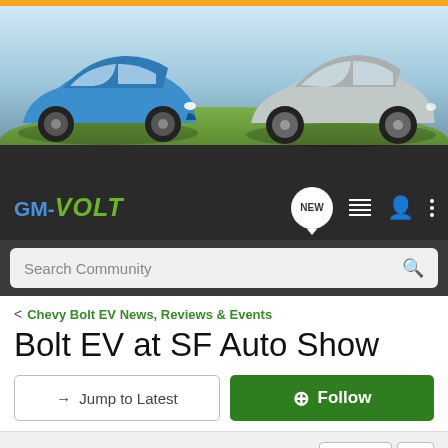[Figure (photo): Banner showing two cars - a blue Chevy Bolt EV on the left and a silver Chevy Volt on the right, against a sky background with orange strip at top. GM-VOLT logo and navigation icons below.]
Search Community
< Chevy Bolt EV News, Reviews & Events
Bolt EV at SF Auto Show
→ Jump to Latest
+ Follow
1 - 20 of 40 Posts
1 of 2 ▶
dhouk · Registered